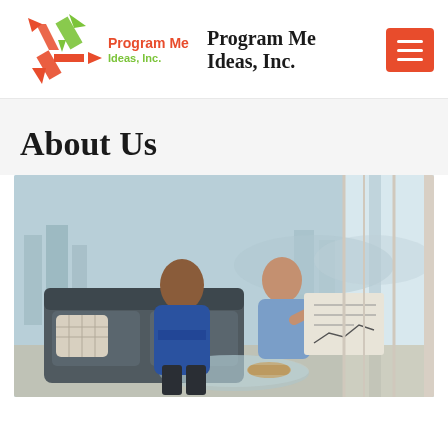[Figure (logo): Program Me Ideas, Inc. logo with arrows forming a star/compass shape in red and green]
Program Me Ideas, Inc.
About Us
[Figure (photo): Two business professionals sitting on a sofa in a modern office with city view, reviewing a document or chart together]